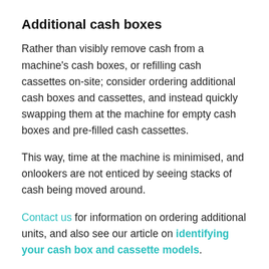Additional cash boxes
Rather than visibly remove cash from a machine's cash boxes, or refilling cash cassettes on-site; consider ordering additional cash boxes and cassettes, and instead quickly swapping them at the machine for empty cash boxes and pre-filled cash cassettes.
This way, time at the machine is minimised, and onlookers are not enticed by seeing stacks of cash being moved around.
Contact us for information on ordering additional units, and also see our article on identifying your cash box and cassette models.
Adding cam locks to cash boxes
Both cash-in boxes and cash-out cassettes can be fitted